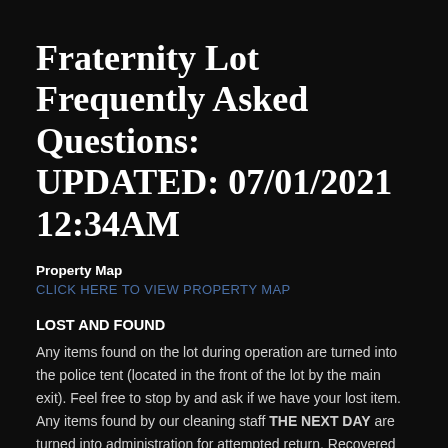Fraternity Lot Frequently Asked Questions: UPDATED: 07/01/2021 12:34AM
Property Map
CLICK HERE TO VIEW PROPERTY MAP
LOST AND FOUND
Any items found on the lot during operation are turned into the police tent (located in the front of the lot by the main exit). Feel free to stop by and ask if we have your lost item. Any items found by our cleaning staff THE NEXT DAY are turned into administration for attempted return. Recovered phones and wallets are always turned into USCPD HQ (1415 Henderson